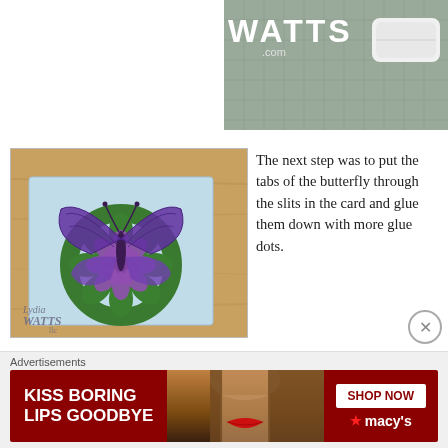[Figure (photo): Partial photo showing WATTS.com logo text and a white eraser/brayer on a cutting mat background]
[Figure (photo): Photo of a 3D pop-up butterfly card with purple butterfly standing upright on a light blue card with green flower design, watermark reads Lydia Watts]
The next step was to put the tabs of the butterfly through the slits in the card and glue them down with more glue dots.
Then I turned my attention to the outside of the card. The large purple pieces cover up the tabs and marks on the card base.
[Figure (advertisement): Macy's advertisement banner: KISS BORING LIPS GOODBYE with SHOP NOW button and Macy's star logo on dark red background]